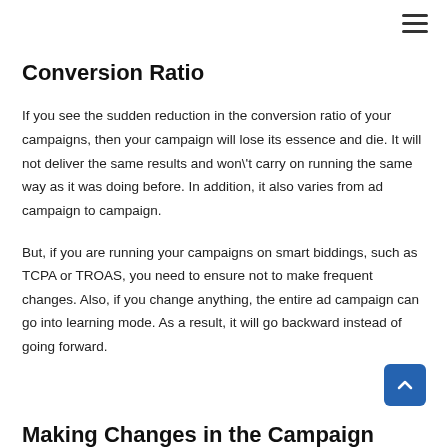Conversion Ratio
If you see the sudden reduction in the conversion ratio of your campaigns, then your campaign will lose its essence and die. It will not deliver the same results and won\'t carry on running the same way as it was doing before. In addition, it also varies from ad campaign to campaign.
But, if you are running your campaigns on smart biddings, such as TCPA or TROAS, you need to ensure not to make frequent changes. Also, if you change anything, the entire ad campaign can go into learning mode. As a result, it will go backward instead of going forward.
Making Changes in the Campaign